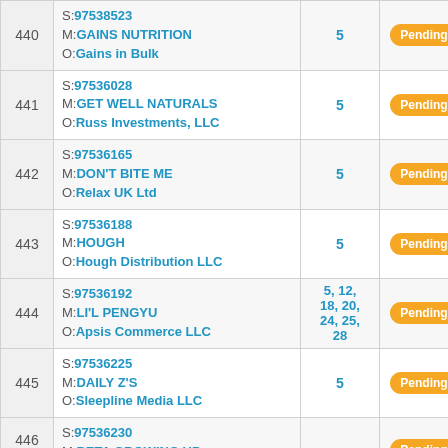| # | S/M/O | Class | Status |
| --- | --- | --- | --- |
| 440 | S:97538523 M:GAINS NUTRITION O:Gains in Bulk | 5 | Pending |
| 441 | S:97536028 M:GET WELL NATURALS O:Russ Investments, LLC | 5 | Pending |
| 442 | S:97536165 M:DON'T BITE ME O:Relax UK Ltd | 5 | Pending |
| 443 | S:97536188 M:HOUGH O:Hough Distribution LLC | 5 | Pending |
| 444 | S:97536192 M:LI'L PENGYU O:Apsis Commerce LLC | 5, 12, 18, 20, 24, 25, 28 | Pending |
| 445 | S:97536225 M:DAILY Z'S O:Sleepline Media LLC | 5 | Pending |
| 446 | S:97536230 M:BETA GROWING UP O:... | ... | Pending |